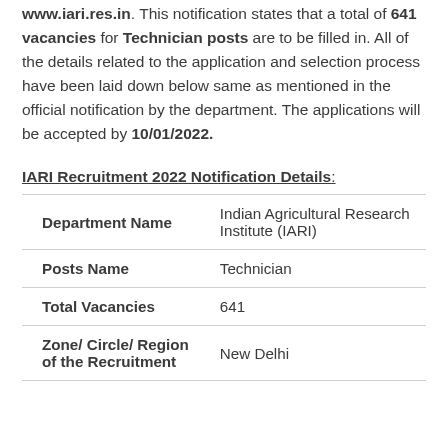www.iari.res.in. This notification states that a total of 641 vacancies for Technician posts are to be filled in. All of the details related to the application and selection process have been laid down below same as mentioned in the official notification by the department. The applications will be accepted by 10/01/2022.
IARI Recruitment 2022 Notification Details:
|  |  |
| --- | --- |
| Department Name | Indian Agricultural Research Institute (IARI) |
| Posts Name | Technician |
| Total Vacancies | 641 |
| Zone/ Circle/ Region of the Recruitment | New Delhi |